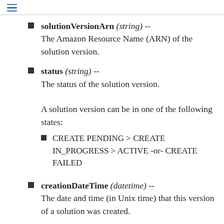≡
solutionVersionArn (string) -- The Amazon Resource Name (ARN) of the solution version.
status (string) -- The status of the solution version. A solution version can be in one of the following states:
CREATE PENDING > CREATE IN_PROGRESS > ACTIVE -or- CREATE FAILED
creationDateTime (datetime) -- The date and time (in Unix time) that this version of a solution was created.
lastUpdatedDateTime (datetime)